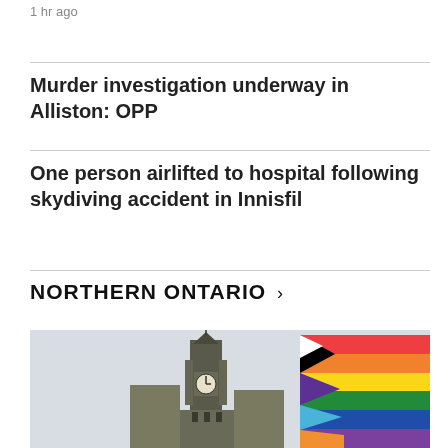Saturday night.
1 hr ago
Murder investigation underway in Alliston: OPP
One person airlifted to hospital following skydiving accident in Innisfil
NORTHERN ONTARIO >
[Figure (photo): Progress Pride flag flying in front of Parliament Hill's Peace Tower in Ottawa, with colourful rainbow and chevron stripes visible against a grey sky.]